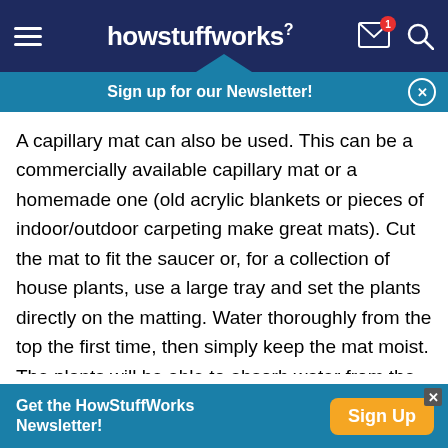howstuffworks
Sign up for our Newsletter!
A capillary mat can also be used. This can be a commercially available capillary mat or a homemade one (old acrylic blankets or pieces of indoor/outdoor carpeting make great mats). Cut the mat to fit the saucer or, for a collection of house plants, use a large tray and set the plants directly on the matting. Water thoroughly from the top the first time, then simply keep the mat moist. The plants will be able to absorb water from the matting when they need it.
Get the HowStuffWorks Newsletter! Sign Up